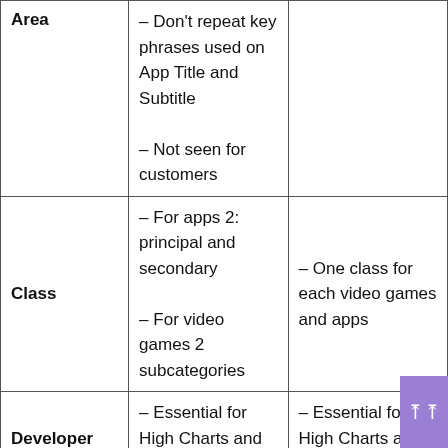| Area |  |  |
| --- | --- | --- |
| Area | – Don't repeat key phrases used on App Title and Subtitle
– Not seen for customers |  |
| Class | – For apps 2: principal and secondary
– For video games 2 subcategories | – One class for each video games and apps |
| Developer | – Essential for High Charts and featured | – Essential for High Charts and featured |
| Icon | – Influence on CTR / TTR | – Influence on CTR / TTR |